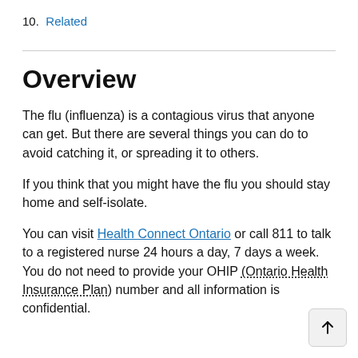10.  Related
Overview
The flu (influenza) is a contagious virus that anyone can get. But there are several things you can do to avoid catching it, or spreading it to others.
If you think that you might have the flu you should stay home and self-isolate.
You can visit Health Connect Ontario or call 811 to talk to a registered nurse 24 hours a day, 7 days a week. You do not need to provide your OHIP (Ontario Health Insurance Plan) number and all information is confidential.